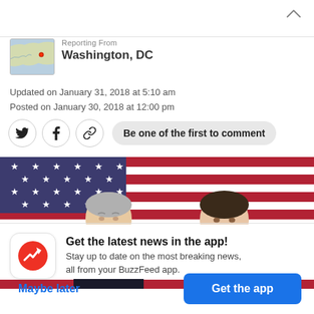[Figure (other): Chevron/caret up icon in top right corner]
[Figure (map): Small map thumbnail showing Washington DC area with red dot marker]
Reporting from
Washington, DC
Updated on January 31, 2018 at 5:10 am
Posted on January 30, 2018 at 12:00 pm
[Figure (other): Social sharing row with Twitter bird icon, Facebook f icon, link/chain icon, and 'Be one of the first to comment' button]
[Figure (photo): Photo of Mike Pence and Paul Ryan standing in front of American flag backdrop]
[Figure (logo): BuzzFeed News app icon - red circle with white trending arrow]
Get the latest news in the app!
Stay up to date on the most breaking news,
all from your BuzzFeed app.
Maybe later
Get the app